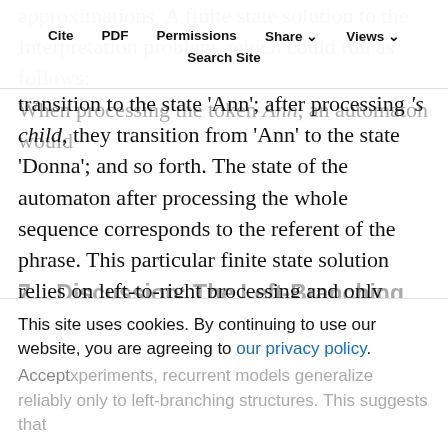approximations. A finite state solution to the Interpretation problem, which could run as follows: When processing the token Ann, an automaton would transition to the state 'Ann'; after processing 's child, they transition from 'Ann' to the state 'Donna'; and so forth. The state of the automaton after processing the whole sequence corresponds to the referent of the phrase. This particular finite state solution relies on left-to-right processing and only applies to left-branching structures (Ann's child's friend) but not to right-branching ones (the friend of the child of Ann).
7.  Discussion: The Left-Branching Asymmetry of Recurrent Models
This site uses cookies. By continuing to use our website, you are agreeing to our privacy policy. Accept
experiments, recurrent models generalize reliably only to left-branching structures. This suggests that